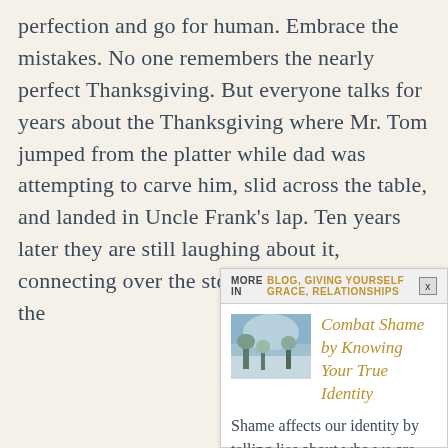perfection and go for human. Embrace the mistakes. No one remembers the nearly perfect Thanksgiving. But everyone talks for years about the Thanksgiving where Mr. Tom jumped from the platter while dad was attempting to carve him, slid across the table, and landed in Uncle Frank's lap. Ten years later they are still laughing about it, connecting over the story, and rejoicing in the
MORE IN BLOG, GIVING YOURSELF GRACE, RELATIONSHIPS
[Figure (photo): Small thumbnail photo showing a wintry outdoor scene with trees and a blue sky]
Combat Shame by Knowing Your True Identity
Shame affects our identity by telling lies about who we are. To combat shame we need to know our true...